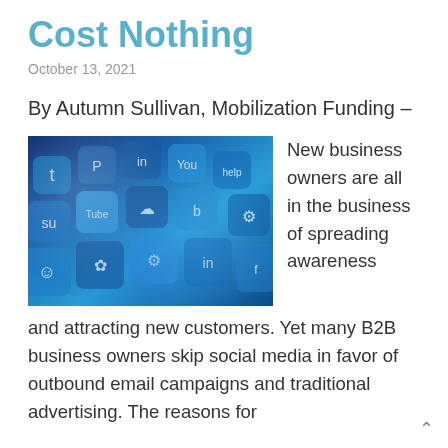Cost Nothing
October 13, 2021
By Autumn Sullivan, Mobilization Funding –
[Figure (photo): A collage of social media app icons (including YouTube, Pinterest, LinkedIn, Reddit, Instagram, and others) displayed on blue-tinted phone/tablet screens arranged at an angle.]
New business owners are all in the business of spreading awareness and attracting new customers. Yet many B2B business owners skip social media in favor of outbound email campaigns and traditional advertising. The reasons for